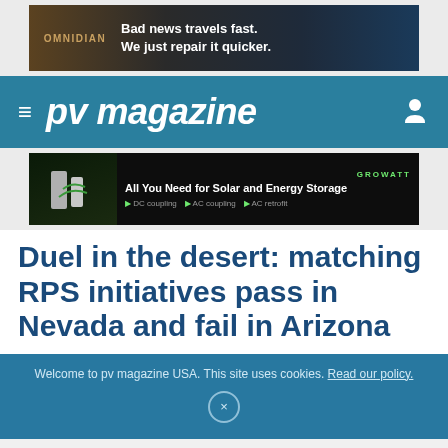[Figure (screenshot): Omnidian advertisement banner: 'Bad news travels fast. We just repair it quicker.']
≡ pv magazine
[Figure (screenshot): Growatt advertisement: 'All You Need for Solar and Energy Storage ▶ DC coupling ▶ AC coupling ▶ AC retrofit']
Duel in the desert: matching RPS initiatives pass in Nevada and fail in Arizona
Welcome to pv magazine USA. This site uses cookies. Read our policy.